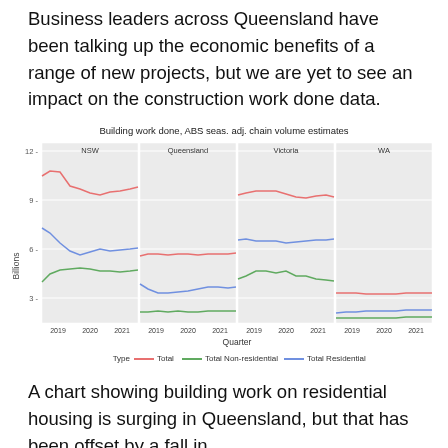Business leaders across Queensland have been talking up the economic benefits of a range of new projects, but we are yet to see an impact on the construction work done data.
[Figure (line-chart): Four-panel line chart showing building work done for NSW, Queensland, Victoria, and WA from 2019-2021, with three series: Total (red), Total Non-residential (green), Total Residential (blue).]
A chart showing building work on residential housing is surging in Queensland, but that has been offset by a fall in